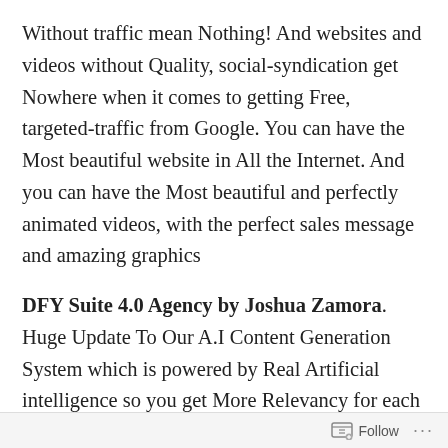Without traffic mean Nothing! And websites and videos without Quality, social-syndication get Nowhere when it comes to getting Free, targeted-traffic from Google. You can have the Most beautiful website in All the Internet. And you can have the Most beautiful and perfectly animated videos, with the perfect sales message and amazing graphics
DFY Suite 4.0 Agency by Joshua Zamora. Huge Update To Our A.I Content Generation System which is powered by Real Artificial intelligence so you get More Relevancy for each of your campaigns so you get even More ranking power! When it comes to ranking your content on page 1, the two most important things that help you get there are Quality syndication and Quality content! And since we Also
Follow ...